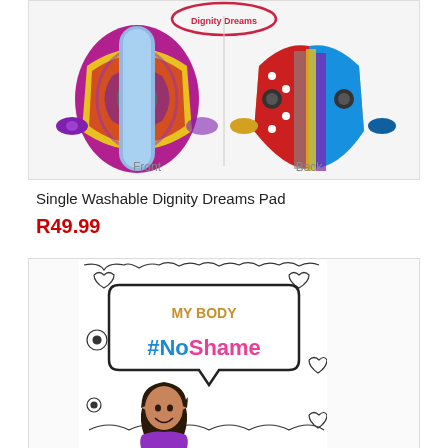[Figure (photo): Product photo of Single Washable Dignity Dreams Pad showing Front and Back views with colorful African fabric patterns. Front shows a light blue pad with colorful pattern underneath; Back shows the snap closure side with blue/red/gold African print.]
Single Washable Dignity Dreams Pad
R49.99
[Figure (photo): Book cover for 'MY BODY #NoShame' with a young girl smiling, surrounded by black and white doodle art background, with a speech bubble containing the book title text in colorful letters.]